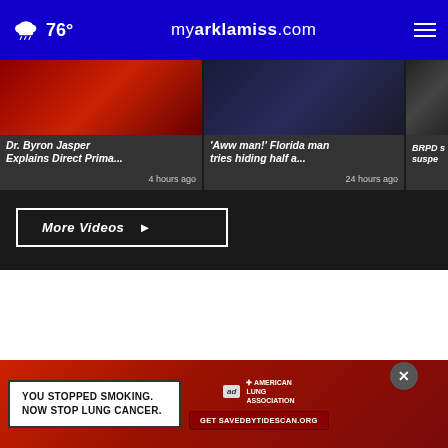76° myarklamiss.com
[Figure (screenshot): Video thumbnail: Dr. Byron Jasper Explains Direct Prima... - 4 hours ago]
Dr. Byron Jasper Explains Direct Prima...
4 hours ago
[Figure (screenshot): Video thumbnail: 'Aww man!' Florida man tries hiding half a... - 24 hours ago]
'Aww man!' Florida man tries hiding half a...
24 hours ago
[Figure (screenshot): Partial video thumbnail: BRPD s... suspe...]
BRPD s... suspe...
More Videos ▶
[Figure (infographic): Advertisement: YOU STOPPED SMOKING. NOW STOP LUNG CANCER. - American Lung Association - Get SAVEDBYTIDESCAN.ORG]